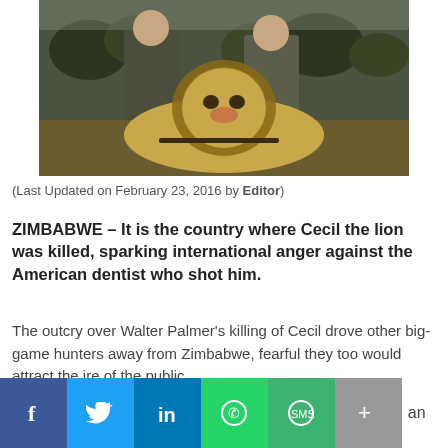[Figure (photo): Two men posing behind a dead lion in an African bush setting. Both men are wearing olive/khaki clothing. Trees and dry grass visible in background.]
(Last Updated on February 23, 2016 by Editor)
ZIMBABWE – It is the country where Cecil the lion was killed, sparking international anger against the American dentist who shot him.
The outcry over Walter Palmer's killing of Cecil drove other big-game hunters away from Zimbabwe, fearful they too would attract the ire of the public.
But in what is being described as a side effect of the affair, Zimbabwe's an